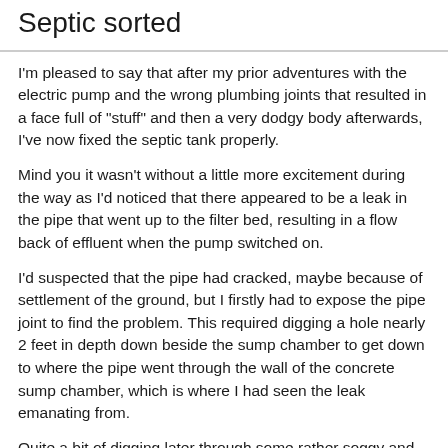Septic sorted
I'm pleased to say that after my prior adventures with the electric pump and the wrong plumbing joints that resulted in a face full of "stuff" and then a very dodgy body afterwards, I've now fixed the septic tank properly.
Mind you it wasn't without a little more excitement during the way as I'd noticed that there appeared to be a leak in the pipe that went up to the filter bed, resulting in a flow back of effluent when the pump switched on.
I'd suspected that the pipe had cracked, maybe because of settlement of the ground, but I firstly had to expose the pipe joint to find the problem. This required digging a hole nearly 2 feet in depth down beside the sump chamber to get down to where the pipe went through the wall of the concrete sump chamber, which is where I had seen the leak emanating from.
Quite a bit of digging later through some rather soggy and probably polluted soil and I'd got the joint where the non-return valve in the sump chamber was connected to the